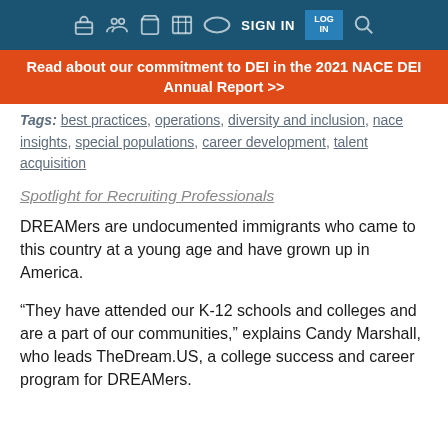SIGN IN
Read about our commitment to DEI in the 2021 NACE DEI Annual Report >>
Tags: best practices, operations, diversity and inclusion, nace insights, special populations, career development, talent acquisition
Spotlight for Recruiting Professionals
DREAMers are undocumented immigrants who came to this country at a young age and have grown up in America.
“They have attended our K-12 schools and colleges and are a part of our communities,” explains Candy Marshall, who leads TheDream.US, a college success and career program for DREAMers.